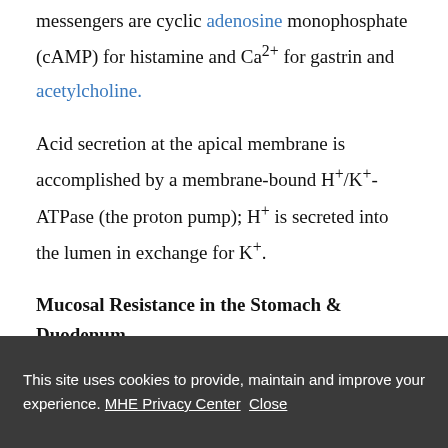messengers are cyclic adenosine monophosphate (cAMP) for histamine and Ca2+ for gastrin and acetylcholine.
Acid secretion at the apical membrane is accomplished by a membrane-bound H+/K+-ATPase (the proton pump); H+ is secreted into the lumen in exchange for K+.
Mucosal Resistance in the Stomach & Duodenum
The healthy mucosa of the stomach and duodenum is
This site uses cookies to provide, maintain and improve your experience. MHE Privacy Center Close